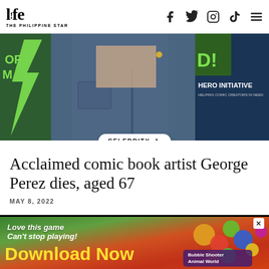l!fe THE PHILIPPINE STAR
[Figure (photo): Hero image showing a person in a denim jacket making a hand gesture, with a green lightning bolt banner on the left and a Hero Initiative sign on the right]
CELEBRITY ★
Acclaimed comic book artist George Perez dies, aged 67
MAY 8, 2022
[Figure (screenshot): Video player area with dark background and a play/pause button]
[Figure (photo): Advertisement banner: Love this game Can't stop playing! Download Now — Bubble Shooter Animal World]